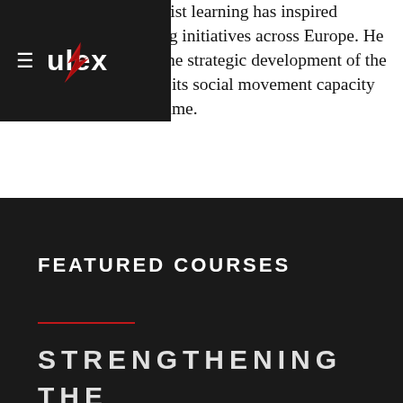approach to activist learning has inspired numerous training initiatives across Europe. He currently steers the strategic development of the Ulex Project and its social movement capacity building programme.
[Figure (logo): Ulex Project logo: hamburger menu icon and 'ulex' text with a red flame/lightning bolt graphic overlay, on dark background]
FEATURED COURSES
STRENGTHENING THE ECOLOGY OF SOCIAL